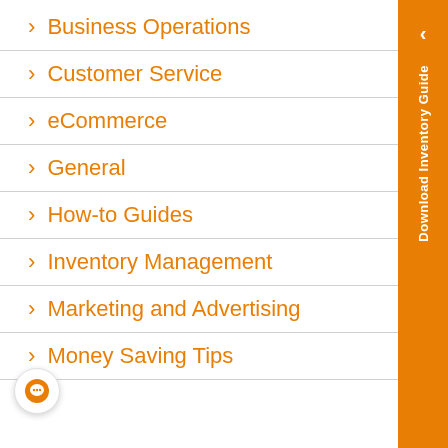> Business Operations
> Customer Service
> eCommerce
> General
> How-to Guides
> Inventory Management
> Marketing and Advertising
> Money Saving Tips